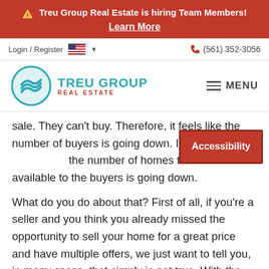⚠ Treu Group Real Estate is hiring Team Members! Learn More
Login / Register  🇺🇸 ▾   (561) 352-3056
[Figure (logo): Treu Group Real Estate logo with teal wave circle and teal/red text]
sale. They can't buy. Therefore, it feels like the number of buyers is going down. In fact, wh... the number of homes that are available to the buyers is going down.
What do you do about that? First of all, if you're a seller and you think you already missed the opportunity to sell your home for a great price and have multiple offers, we just want to tell you, in many cases, that simply is not true. With the right strategies, you can still